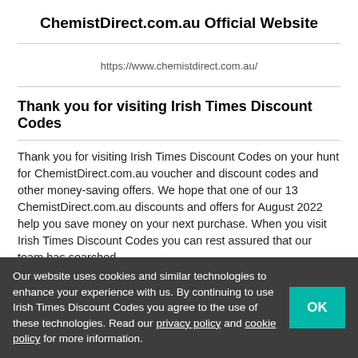ChemistDirect.com.au Official Website
https://www.chemistdirect.com.au/
Thank you for visiting Irish Times Discount Codes
Thank you for visiting Irish Times Discount Codes on your hunt for ChemistDirect.com.au voucher and discount codes and other money-saving offers. We hope that one of our 13 ChemistDirect.com.au discounts and offers for August 2022 help you save money on your next purchase. When you visit Irish Times Discount Codes you can rest assured that our team has searched high and low to find all available ChemistDirect.com...
Our website uses cookies and similar technologies to enhance your experience with us. By continuing to use Irish Times Discount Codes you agree to the use of these technologies. Read our privacy policy and cookie policy for more information.